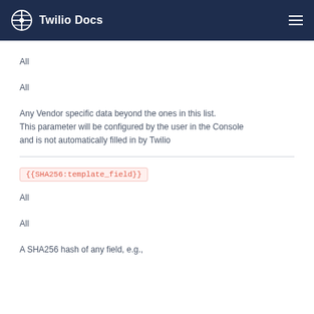Twilio Docs
All
All
Any Vendor specific data beyond the ones in this list. This parameter will be configured by the user in the Console and is not automatically filled in by Twilio
{{SHA256:template_field}}
All
All
A SHA256 hash of any field, e.g.,